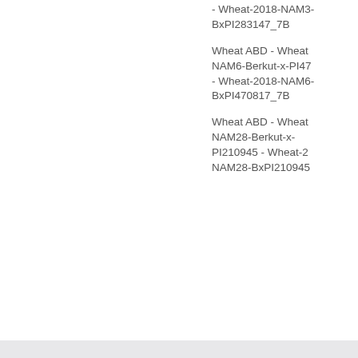- Wheat-2018-NAM3-BxPI283147_7B
Wheat ABD - Wheat NAM6-Berkut-x-PI470817 - Wheat-2018-NAM6-BxPI470817_7B
Wheat ABD - Wheat NAM28-Berkut-x-PI210945 - Wheat-2018-NAM28-BxPI210945
CMap is free software from the GMOD project
Contact the GrainGenes Curators
[Figure (logo): USDA logo with green landscape graphic and blue USDA text]
GrainGenes is a product of the US Department of Agriculture.